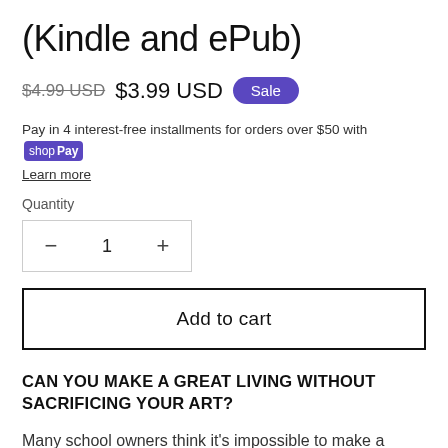(Kindle and ePub)
$4.99 USD  $3.99 USD  Sale
Pay in 4 interest-free installments for orders over $50 with shop Pay
Learn more
Quantity
− 1 +
Add to cart
CAN YOU MAKE A GREAT LIVING WITHOUT SACRIFICING YOUR ART?
Many school owners think it's impossible to make a decent living while teaching a quality martial arts program. I think